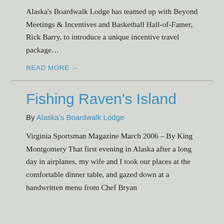Alaska's Boardwalk Lodge has teamed up with Beyond Meetings & Incentives and Basketball Hall-of-Famer, Rick Barry, to introduce a unique incentive travel package...
READ MORE →
Fishing Raven's Island
By Alaska's Boardwalk Lodge
Virginia Sportsman Magazine March 2006 – By King Montgomery That first evening in Alaska after a long day in airplanes, my wife and I took our places at the comfortable dinner table, and gazed down at a handwritten menu from Chef Bryan